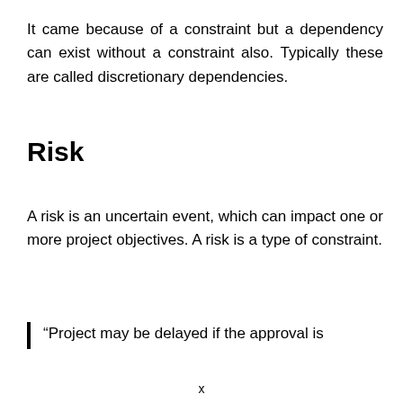It came because of a constraint but a dependency can exist without a constraint also. Typically these are called discretionary dependencies.
Risk
A risk is an uncertain event, which can impact one or more project objectives. A risk is a type of constraint.
“Project may be delayed if the approval is
x